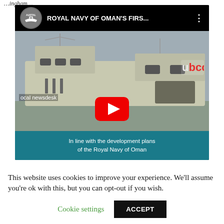[Figure (screenshot): YouTube video thumbnail showing Austal channel video titled 'ROYAL NAVY OF OMAN'S FIRS...' with a naval ship image and subtitle 'In line with the development plans of the Royal Navy of Oman'. Large red YouTube play button in center.]
This website uses cookies to improve your experience. We'll assume you're ok with this, but you can opt-out if you wish.
Cookie settings
ACCEPT